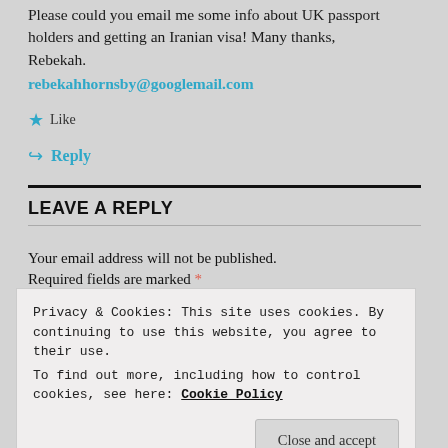Please could you email me some info about UK passport holders and getting an Iranian visa! Many thanks, Rebekah.
rebekahhornsby@googlemail.com
★ Like
↪ Reply
LEAVE A REPLY
Your email address will not be published.
Required fields are marked *
Privacy & Cookies: This site uses cookies. By continuing to use this website, you agree to their use.
To find out more, including how to control cookies, see here: Cookie Policy
Close and accept